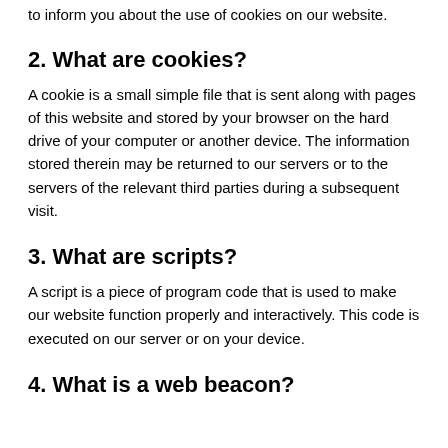to inform you about the use of cookies on our website.
2. What are cookies?
A cookie is a small simple file that is sent along with pages of this website and stored by your browser on the hard drive of your computer or another device. The information stored therein may be returned to our servers or to the servers of the relevant third parties during a subsequent visit.
3. What are scripts?
A script is a piece of program code that is used to make our website function properly and interactively. This code is executed on our server or on your device.
4. What is a web beacon?